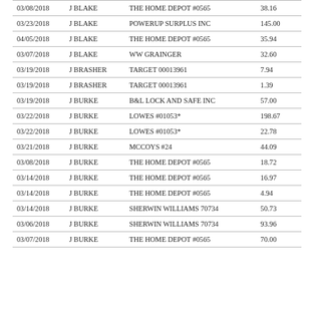| 03/08/2018 | J BLAKE | THE HOME DEPOT #0565 | 38.16 |
| 03/23/2018 | J BLAKE | POWERUP SURPLUS INC | 145.00 |
| 04/05/2018 | J BLAKE | THE HOME DEPOT #0565 | 35.94 |
| 03/07/2018 | J BLAKE | WW GRAINGER | 32.60 |
| 03/19/2018 | J BRASHER | TARGET 00013961 | 7.94 |
| 03/19/2018 | J BRASHER | TARGET 00013961 | 1.39 |
| 03/19/2018 | J BURKE | B&L LOCK AND SAFE INC | 57.00 |
| 03/22/2018 | J BURKE | LOWES #01053* | 198.67 |
| 03/22/2018 | J BURKE | LOWES #01053* | 22.78 |
| 03/21/2018 | J BURKE | MCCOYS #24 | 44.09 |
| 03/08/2018 | J BURKE | THE HOME DEPOT #0565 | 18.72 |
| 03/14/2018 | J BURKE | THE HOME DEPOT #0565 | 16.97 |
| 03/14/2018 | J BURKE | THE HOME DEPOT #0565 | 4.94 |
| 03/14/2018 | J BURKE | SHERWIN WILLIAMS 70734 | 50.73 |
| 03/06/2018 | J BURKE | SHERWIN WILLIAMS 70734 | 93.96 |
| 03/07/2018 | J BURKE | THE HOME DEPOT #0565 | 70.00 |